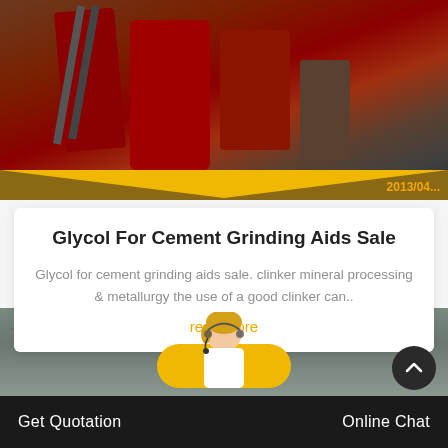[Figure (photo): Industrial mining or crushing machinery (large red equipment) at an outdoor worksite with workers, with date stamp '2013/04...' in orange in the bottom right corner]
Glycol For Cement Grinding Aids Sale
Glycol for cement grinding aids sale. clinker mineral processing & metallurgy the use of a good clinker can..
read more
[Figure (photo): Rocky stone/quarry background with a female customer service agent wearing a headset, positioned above a yellow oval button]
Get Quotation    Online Chat